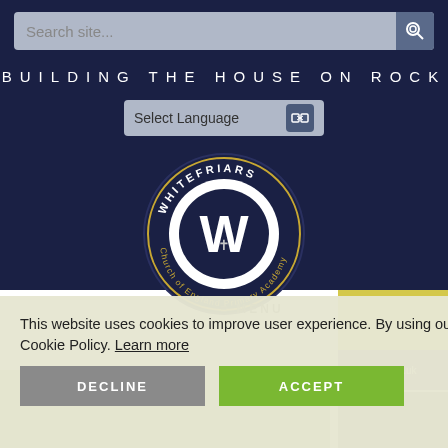Search site...
BUILDING THE HOUSE ON ROCK
Select Language
[Figure (logo): Whitefriars Church of England Primary Academy circular logo with large W and cross figure in center white circle, gold and white text around dark navy border]
This website uses cookies to improve user experience. By using our website you consent to all cookies in accordance with our Cookie Policy. Learn more
DECLINE
ACCEPT